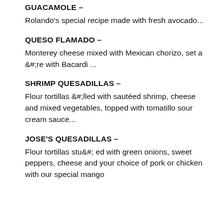GUACAMOLE –
Rolando's special recipe made with fresh avocado...
QUESO FLAMADO –
Monterey cheese mixed with Mexican chorizo, set a &#re with Bacardi ...
SHRIMP QUESADILLAS –
Flour tortillas &#;lled with sautéed shrimp, cheese and mixed vegetables, topped with tomatillo sour cream sauce...
JOSE'S QUESADILLAS –
Flour tortillas stu&#; ed with green onions, sweet peppers, cheese and your choice of pork or chicken with our special mango